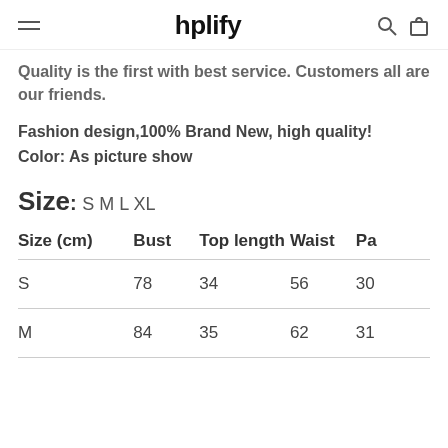hplify
Quality is the first with best service. Customers all are our friends.
Fashion design,100% Brand New, high quality!
Color: As picture show
Size: S M L XL
| Size (cm) | Bust | Top length | Waist | Pa... |
| --- | --- | --- | --- | --- |
| S | 78 | 34 | 56 | 30... |
| M | 84 | 35 | 62 | 31... |